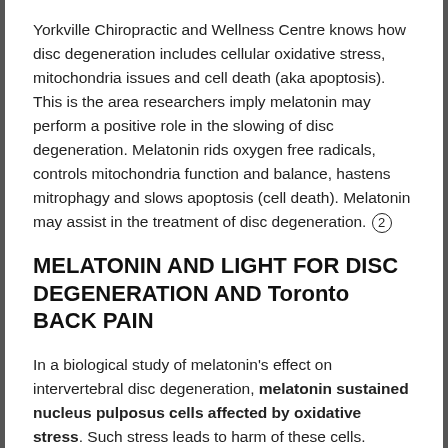Yorkville Chiropractic and Wellness Centre knows how disc degeneration includes cellular oxidative stress, mitochondria issues and cell death (aka apoptosis). This is the area researchers imply melatonin may perform a positive role in the slowing of disc degeneration. Melatonin rids oxygen free radicals, controls mitochondria function and balance, hastens mitrophagy and slows apoptosis (cell death). Melatonin may assist in the treatment of disc degeneration. (2)
MELATONIN AND LIGHT FOR DISC DEGENERATION AND Toronto BACK PAIN
In a biological study of melatonin's effect on intervertebral disc degeneration, melatonin sustained nucleus pulposus cells affected by oxidative stress. Such stress leads to harm of these cells. Melatonin is an important neuroendocrine hormone with good antioxidant effect that acts on biological clock regulation. (3) Chronic non-specific low back pain sufferers who included melatonin in their treatment plan experienced a positive increase on the effect of standard treatments on